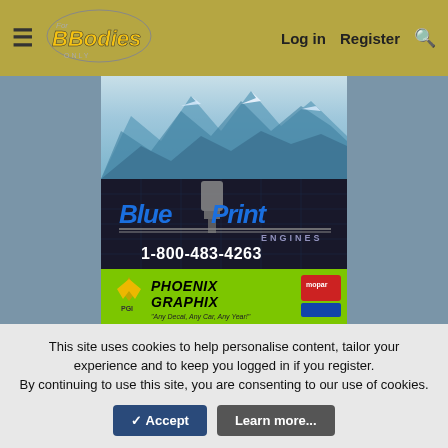For B Bodies Only - navigation bar with hamburger menu, logo, Log in, Register, Search
[Figure (photo): Mountain scenic landscape advertisement with blue snowy mountains]
[Figure (other): Blueprint Engines advertisement with logo and phone number 1-800-483-4263]
[Figure (other): Phoenix Graphix advertisement - Muscle Car Decals with PGI logo, Mopar badge, GTX and R/T logos]
This site uses cookies to help personalise content, tailor your experience and to keep you logged in if you register. By continuing to use this site, you are consenting to our use of cookies.
✓ Accept | Learn more...